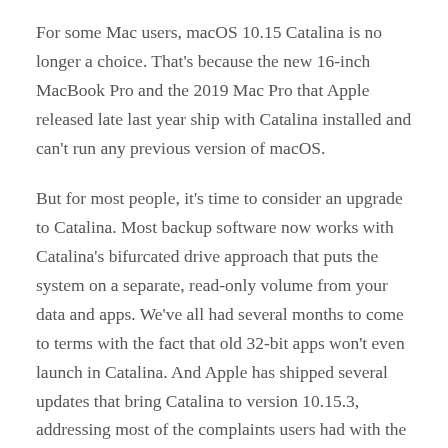For some Mac users, macOS 10.15 Catalina is no longer a choice. That's because the new 16-inch MacBook Pro and the 2019 Mac Pro that Apple released late last year ship with Catalina installed and can't run any previous version of macOS.
But for most people, it's time to consider an upgrade to Catalina. Most backup software now works with Catalina's bifurcated drive approach that puts the system on a separate, read-only volume from your data and apps. We've all had several months to come to terms with the fact that old 32-bit apps won't even launch in Catalina. And Apple has shipped several updates that bring Catalina to version 10.15.3, addressing most of the complaints users had with the initial release.